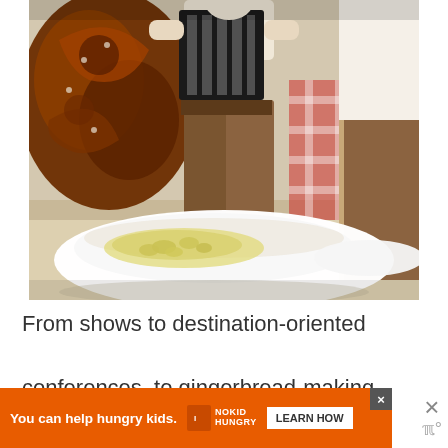[Figure (photo): Photo of a Bavarian/German-themed food scene: large pretzels visible on the left, a person playing an accordion in the center background wearing lederhosen, a red checkered tablecloth, a white bowl with yellow food (potato salad or similar) in the foreground, and another person on the right side.]
From shows to destination-oriented conferences, to gingerbread-making lessons to
[Figure (other): Orange advertisement banner: 'You can help hungry kids.' with No Kid Hungry logo and 'LEARN HOW' button, with a close (X) button in top right corner. A large gray X icon and small watermark appear to the right.]